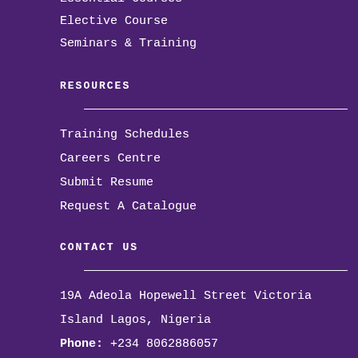Essential Courses
Elective Course
Seminars & Training
RESOURCES
Training Schedules
Careers Centre
Submit Resume
Request A Catalogue
CONTACT US
19A Adeola Hopewell Street Victoria Island Lagos, Nigeria
Phone: +234 8062886057